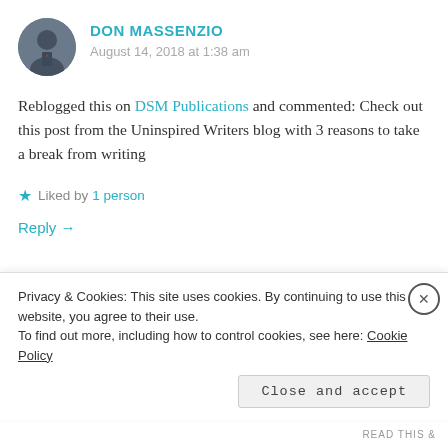DON MASSENZIO
August 14, 2018 at 1:38 am
Reblogged this on DSM Publications and commented: Check out this post from the Uninspired Writers blog with 3 reasons to take a break from writing
Liked by 1 person
Reply →
M.L. DAVIS
Privacy & Cookies: This site uses cookies. By continuing to use this website, you agree to their use. To find out more, including how to control cookies, see here: Cookie Policy
Close and accept